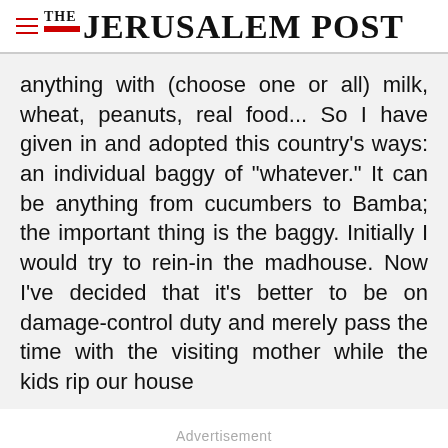THE JERUSALEM POST
anything with (choose one or all) milk, wheat, peanuts, real food... So I have given in and adopted this country's ways: an individual baggy of "whatever." It can be anything from cucumbers to Bamba; the important thing is the baggy. Initially I would try to rein-in the madhouse. Now I've decided that it's better to be on damage-control duty and merely pass the time with the visiting mother while the kids rip our house
Advertisement